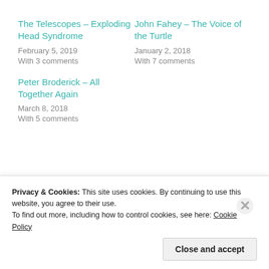The Telescopes – Exploding Head Syndrome
February 5, 2019
With 3 comments
John Fahey – The Voice of the Turtle
January 2, 2018
With 7 comments
Peter Broderick – All Together Again
March 8, 2018
With 5 comments
Uncategorized
Privacy & Cookies: This site uses cookies. By continuing to use this website, you agree to their use. To find out more, including how to control cookies, see here: Cookie Policy
Close and accept